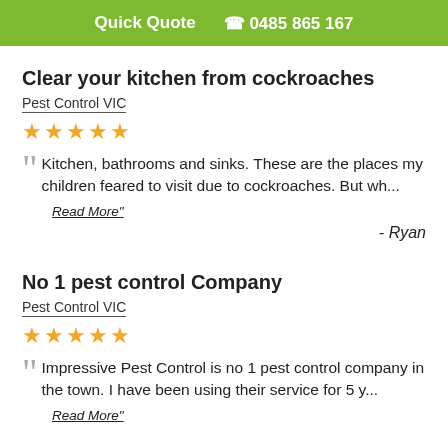Quick Quote  📞 0485 865 167
Clear your kitchen from cockroaches
Pest Control VIC
★★★★★
Kitchen, bathrooms and sinks. These are the places my children feared to visit due to cockroaches. But wh...
Read More"
- Ryan
No 1 pest control Company
Pest Control VIC
★★★★★
Impressive Pest Control is no 1 pest control company in the town. I have been using their service for 5 y...
Read More"